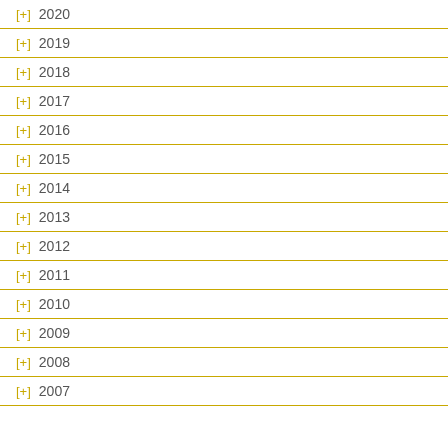[+] 2020
[+] 2019
[+] 2018
[+] 2017
[+] 2016
[+] 2015
[+] 2014
[+] 2013
[+] 2012
[+] 2011
[+] 2010
[+] 2009
[+] 2008
[+] 2007